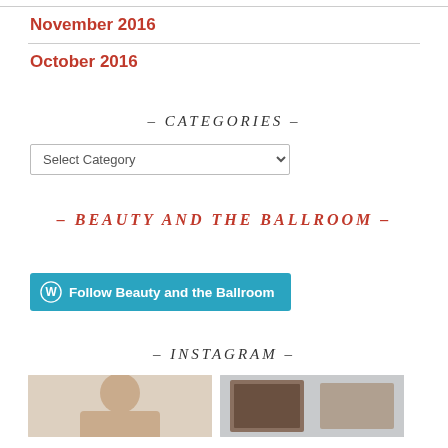November 2016
October 2016
– CATEGORIES –
[Figure (other): Select Category dropdown widget]
– BEAUTY AND THE BALLROOM –
[Figure (other): Follow Beauty and the Ballroom WordPress follow button]
– INSTAGRAM –
[Figure (photo): Two Instagram photo thumbnails side by side: left shows a woman with blonde hair, right shows a dark frame/mirror with gold accents]